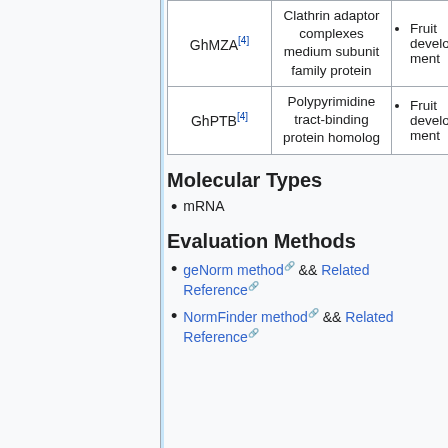| Gene | Description | Role |
| --- | --- | --- |
| GhMZA[4] | Clathrin adaptor complexes medium subunit family protein | • Fruit development |
| GhPTB[4] | Polypyrimidine tract-binding protein homolog | • Fruit development |
Molecular Types
mRNA
Evaluation Methods
geNorm method && Related Reference
NormFinder method && Related Reference